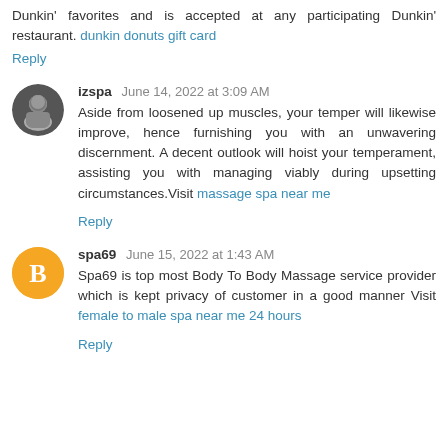Dunkin' favorites and is accepted at any participating Dunkin' restaurant. dunkin donuts gift card
Reply
izspa June 14, 2022 at 3:09 AM
Aside from loosened up muscles, your temper will likewise improve, hence furnishing you with an unwavering discernment. A decent outlook will hoist your temperament, assisting you with managing viably during upsetting circumstances.Visit massage spa near me
Reply
spa69 June 15, 2022 at 1:43 AM
Spa69 is top most Body To Body Massage service provider which is kept privacy of customer in a good manner Visit female to male spa near me 24 hours
Reply